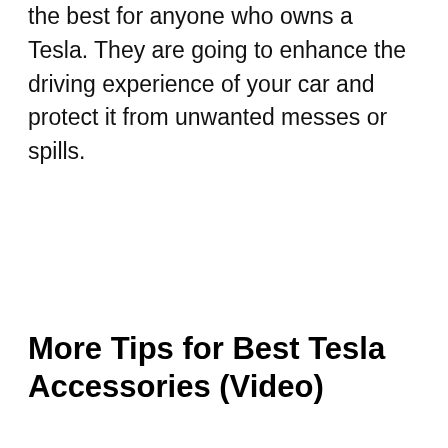the best for anyone who owns a Tesla. They are going to enhance the driving experience of your car and protect it from unwanted messes or spills.
More Tips for Best Tesla Accessories (Video)
[Figure (screenshot): YouTube video thumbnail showing a Tesla Model S interior with a glowing blue touchscreen. Video title reads 'What's In My Tesla Model S (Acce...' with channel thumbnail and three-dot menu icon.]
[Figure (screenshot): Advertisement block showing '44175 Ashbrook Marketplace Pla...' URL, Lidl logo, a blue navigation arrow icon, play and X icons, and 'In-store shopping' text.]